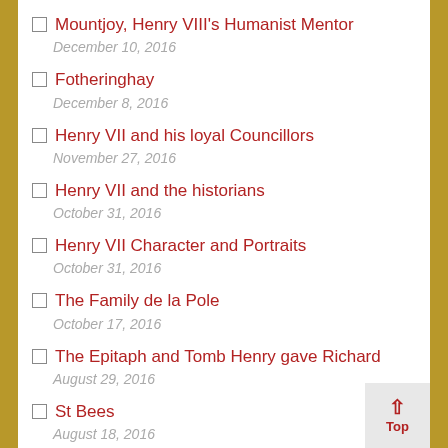Mountjoy, Henry VIII's Humanist Mentor
December 10, 2016
Fotheringhay
December 8, 2016
Henry VII and his loyal Councillors
November 27, 2016
Henry VII and the historians
October 31, 2016
Henry VII Character and Portraits
October 31, 2016
The Family de la Pole
October 17, 2016
The Epitaph and Tomb Henry gave Richard
August 29, 2016
St Bees
August 18, 2016